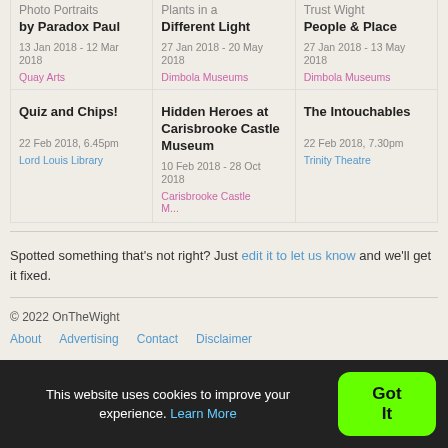Photo Portraits by Paradox Paul | 13 Jan 2018 - 12 Mar 2018 | Quay Arts
Plants in a Different Light | 27 Jan 2018 - 20 May 2018 | Dimbola Museums
Trust Wight People & Place | 27 Jan 2018 - 13 May 2018 | Dimbola Museums
Quiz and Chips! | 22 Feb 2018, 6.45pm | Lord Louis Library
Hidden Heroes at Carisbrooke Castle Museum | 10 Feb 2018 - 28 Oct 2018 | Carisbrooke Castle M...
The Intouchables | 22 Feb 2018, 7.30pm | Trinity Theatre
Spotted something that's not right? Just edit it to let us know and we'll get it fixed.
© 2022 OnTheWight
About   Advertising   Contact   Disclaimer
This website uses cookies to improve your experience. Learn More  Got It